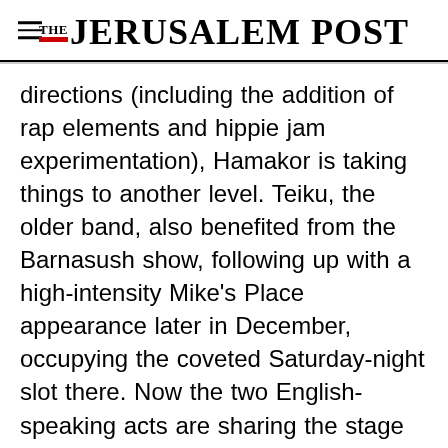THE JERUSALEM POST
directions (including the addition of rap elements and hippie jam experimentation), Hamakor is taking things to another level. Teiku, the older band, also benefited from the Barnasush show, following up with a high-intensity Mike's Place appearance later in December, occupying the coveted Saturday-night slot there. Now the two English-speaking acts are sharing the stage again, this time at the high-profile Ma'abada Theater
Advertisement